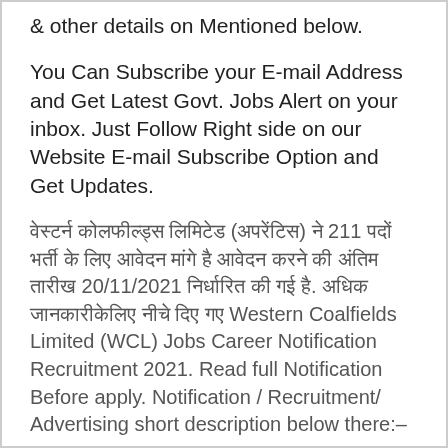& other details on Mentioned below.
You Can Subscribe your E-mail Address and Get Latest Govt. Jobs Alert on your inbox. Just Follow Right side on our Website E-mail Subscribe Option and Get Updates.
वेस्टर्न कोलफील्ड्स लिमिटेड (अपरेंटिस) ने 211 पदों भर्ती के लिए आवेदन मांगे है आवेदन करने की अंतिम तारीख 20/11/2021 निर्धारित की गई है. अधिक जानकारीकेलिए नीचे दिए गए Western Coalfields Limited (WCL) Jobs Career Notification Recruitment 2021. Read full Notification Before apply. Notification / Recruitment/ Advertising short description below there:–
Vacancy in WCL Recruitment 2021